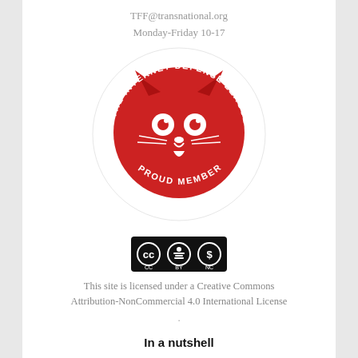TFF@transnational.org
Monday-Friday 10-17
[Figure (logo): The Internet Defense League Proud Member logo — red cat face inside a circular badge with text around the perimeter]
[Figure (logo): Creative Commons Attribution-NonCommercial (CC BY-NC) license badge]
This site is licensed under a Creative Commons Attribution-NonCommercial 4.0 International License
.
In a nutshell
• 7000+ peace research and policy articles and publications – one of the world's largest reservoirs of its